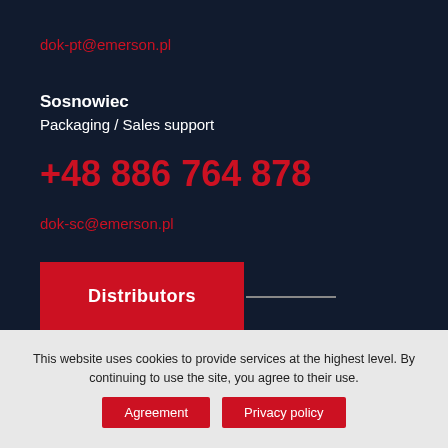dok-pt@emerson.pl
Sosnowiec
Packaging / Sales support
+48 886 764 878
dok-sc@emerson.pl
Distributors
This website uses cookies to provide services at the highest level. By continuing to use the site, you agree to their use.
Agreement
Privacy policy